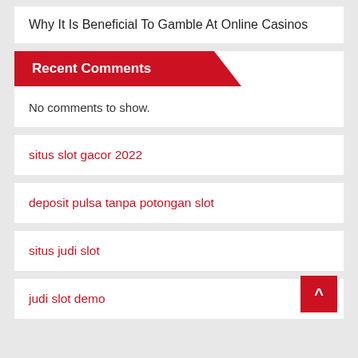Why It Is Beneficial To Gamble At Online Casinos
Recent Comments
No comments to show.
situs slot gacor 2022
deposit pulsa tanpa potongan slot
situs judi slot
judi slot demo